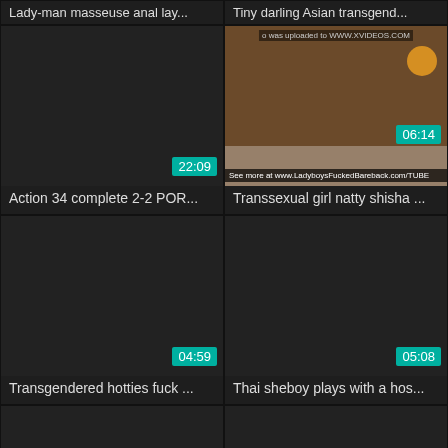Lady-man masseuse anal lay...
Tiny darling Asian transgend...
[Figure (screenshot): Dark video thumbnail with duration badge 22:09]
[Figure (photo): Photo of woman in black lingerie on bed with watermarks, duration badge 06:14]
Action 34 complete 2-2 POR...
Transsexual girl natty shisha ...
[Figure (screenshot): Dark video thumbnail with duration badge 04:59]
[Figure (screenshot): Dark video thumbnail with duration badge 05:08]
Transgendered hotties fuck ...
Thai sheboy plays with a hos...
[Figure (screenshot): Dark partial video thumbnail bottom row left]
[Figure (screenshot): Dark partial video thumbnail bottom row right]